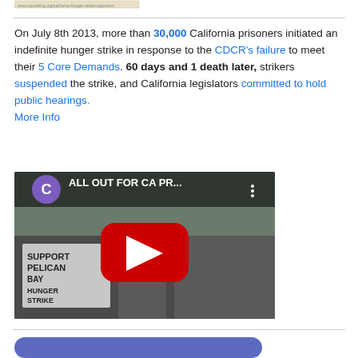[Figure (screenshot): Small thumbnail image of a document or webpage at top left]
On July 8th 2013, more than 30,000 California prisoners initiated an indefinite hunger strike in response to the CDCR's failure to meet their 5 Core Demands. 60 days and 1 death later, strikers suspended the strike, and California legislators committed to hold public hearings. More Info
[Figure (screenshot): YouTube video thumbnail showing a protest scene with signs reading 'SUPPORT PELICAN BAY HUNGER STRIKE'. Video title: ALL OUT FOR CA PR... with a red play button overlay and a purple C avatar icon.]
[Figure (other): Blue rounded button at bottom of page]